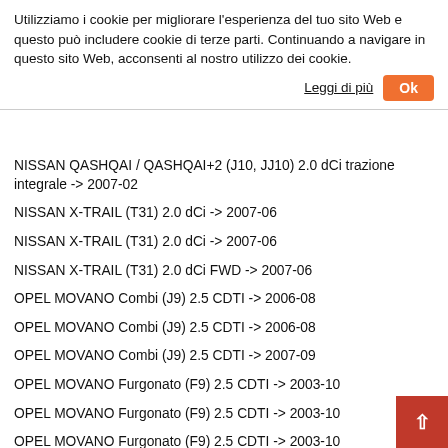Utilizziamo i cookie per migliorare l'esperienza del tuo sito Web e questo può includere cookie di terze parti. Continuando a navigare in questo sito Web, acconsenti al nostro utilizzo dei cookie.
NISSAN QASHQAI / QASHQAI+2 (J10, JJ10) 2.0 dCi trazione integrale -> 2007-02
NISSAN X-TRAIL (T31) 2.0 dCi -> 2007-06
NISSAN X-TRAIL (T31) 2.0 dCi -> 2007-06
NISSAN X-TRAIL (T31) 2.0 dCi FWD -> 2007-06
OPEL MOVANO Combi (J9) 2.5 CDTI -> 2006-08
OPEL MOVANO Combi (J9) 2.5 CDTI -> 2006-08
OPEL MOVANO Combi (J9) 2.5 CDTI -> 2007-09
OPEL MOVANO Furgonato (F9) 2.5 CDTI -> 2003-10
OPEL MOVANO Furgonato (F9) 2.5 CDTI -> 2003-10
OPEL MOVANO Furgonato (F9) 2.5 CDTI -> 2003-10
OPEL MOVANO Pianale piatto/Telaio (U9, E9) 2.5 CDTI -> 2006-08
OPEL MOVANO Pianale piatto/Telaio (U9, E9) 2.5 CDTI -> 2006-08
OPEL MOVANO Pianale piatto/Telaio (U9, E9) 2.5 CDTI -> 2006-08